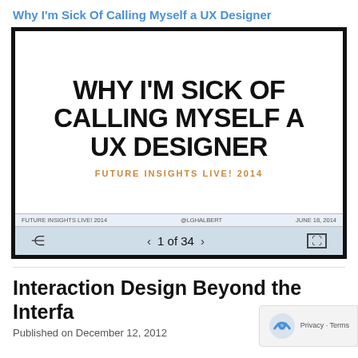Why I'm Sick Of Calling Myself a UX Designer
[Figure (screenshot): Presentation slide screenshot showing bold text 'WHY I'M SICK OF CALLING MYSELF A UX DESIGNER' with subtitle 'FUTURE INSIGHTS LIVE! 2014', slide footer bar with 'FUTURE INSIGHTS LIVE! 2014', '@LGHALBERT', 'JUNE 18, 2014', and navigation controls showing '1 of 34']
Interaction Design Beyond the Interfa
Published on December 12, 2012